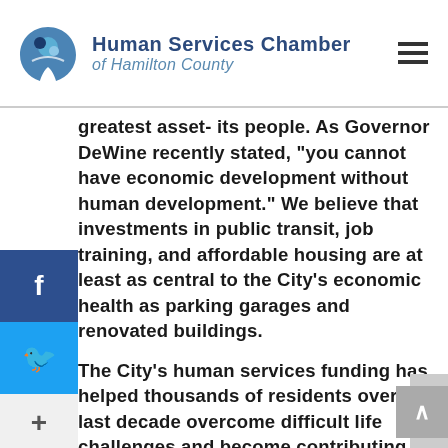Human Services Chamber of Hamilton County
greatest asset- its people. As Governor DeWine recently stated, “you cannot have economic development without human development.” We believe that investments in public transit, job training, and affordable housing are at least as central to the City’s economic health as parking garages and renovated buildings.
The City’s human services funding has helped thousands of residents over the last decade overcome difficult life challenges and become contributing members of our community. Just in the